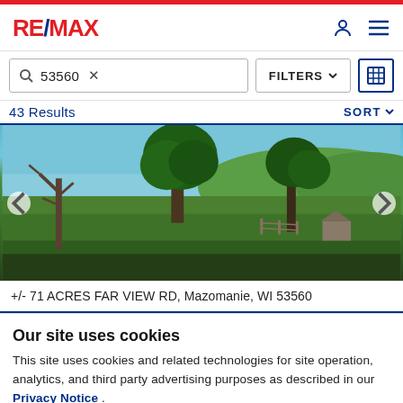RE/MAX
53560 × FILTERS
43 Results SORT
[Figure (photo): Outdoor landscape photo showing green trees, grass fields, and blue sky. Rural property view.]
+/- 71 ACRES FAR VIEW RD, Mazomanie, WI 53560
Our site uses cookies
This site uses cookies and related technologies for site operation, analytics, and third party advertising purposes as described in our Privacy Notice .
ACCEPT